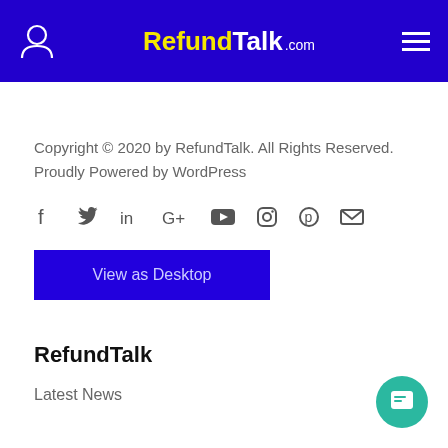RefundTalk.com
Copyright © 2020 by RefundTalk. All Rights Reserved. Proudly Powered by WordPress
[Figure (infographic): Social media icons row: Facebook, Twitter, LinkedIn, Google+, YouTube, Instagram, Pinterest, Email]
View as Desktop
RefundTalk
Latest News